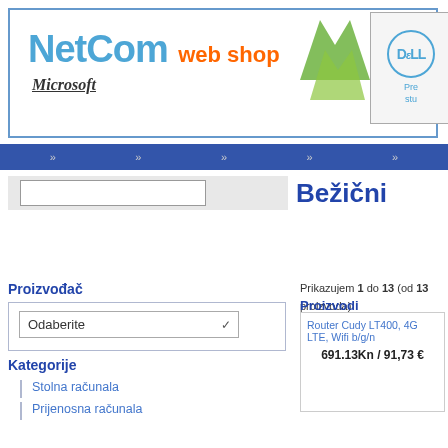[Figure (logo): NetCom web shop logo with Microsoft text and green arrow graphics]
[Figure (logo): Dell logo in blue circle with promotional text]
» » » »
Bežični
Prikazujem 1 do 13 (od 13 proizvoda)
Proizvodi
Proizvođač
Odaberite
Kategorije
Stolna računala
Prijenosna računala
Router Cudy LT400, 4G LTE, Wifi b/g/n
691.13Kn / 91,73 €